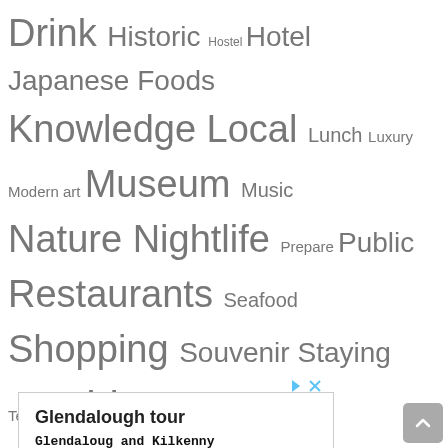Drink Historic Hostel Hotel Japanese Foods Knowledge Local Lunch Luxury Modern art Museum Music Nature Nightlife Prepare Public Restaurants Seafood Shopping Souvenir Staying Temple Things To Do Tour Traditional Culture Train Transportation Travel Tips View Water Sports
[Figure (other): Advertisement for Glendalough tour (finnmccoolstours.com) with OPEN button]